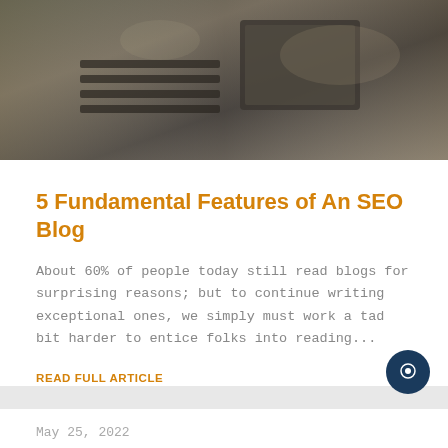[Figure (photo): Dark overhead view of what appears to be a laptop or keyboard on a dark surface]
5 Fundamental Features of An SEO Blog
About 60% of people today still read blogs for surprising reasons; but to continue writing exceptional ones, we simply must work a tad bit harder to entice folks into reading...
READ FULL ARTICLE
May 25, 2022
[Figure (photo): Outdoor nature/landscape image at the bottom of the page]